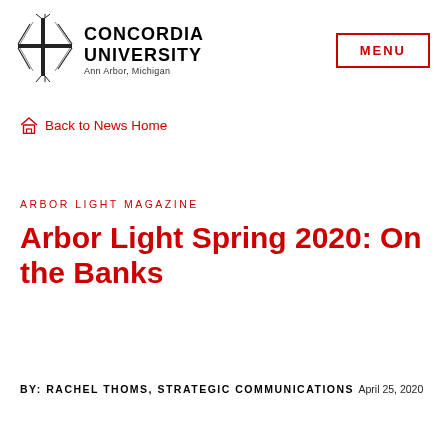Concordia University Ann Arbor, Michigan | MENU
Back to News Home
ARBOR LIGHT MAGAZINE
Arbor Light Spring 2020: On the Banks
BY: RACHEL THOMS, STRATEGIC COMMUNICATIONS April 25, 2020